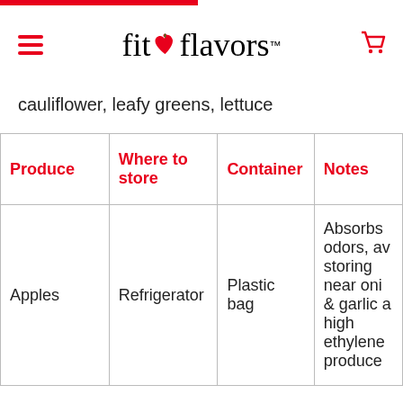[Figure (logo): fit flavors logo with red heart replacing 'o' in 'fit', with hamburger menu icon on left and shopping cart icon on right]
cauliflower, leafy greens, lettuce
| Produce | Where to store | Container | Notes |
| --- | --- | --- | --- |
| Apples | Refrigerator | Plastic bag | Absorbs odors, avoid storing near onions & garlic as high ethylene produce |